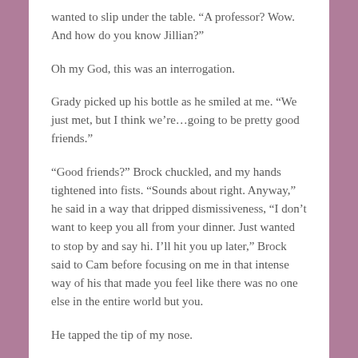wanted to slip under the table. “A professor? Wow. And how do you know Jillian?”
Oh my God, this was an interrogation.
Grady picked up his bottle as he smiled at me. “We just met, but I think we’re…going to be pretty good friends.”
“Good friends?” Brock chuckled, and my hands tightened into fists. “Sounds about right. Anyway,” he said in a way that dripped dismissiveness, “I don’t want to keep you all from your dinner. Just wanted to stop by and say hi. I’ll hit you up later,” Brock said to Cam before focusing on me in that intense way of his that made you feel like there was no one else in the entire world but you.
He tapped the tip of my nose.
I blinked.